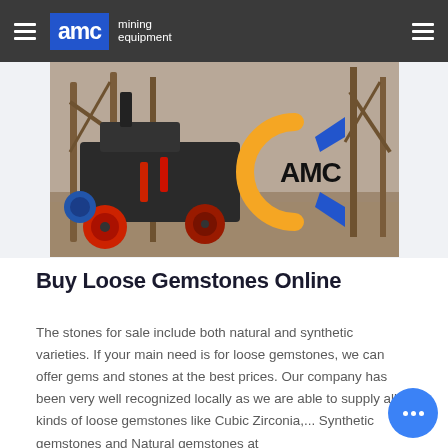AMC mining equipment
[Figure (photo): Outdoor photo of mining/construction equipment machinery with AMC logo watermark visible on the right side. Orange and blue geometric AMC logo with text 'AMC' in black.]
Buy Loose Gemstones Online
The stones for sale include both natural and synthetic varieties. If your main need is for loose gemstones, we can offer gems and stones at the best prices. Our company has been very well recognized locally as we are able to supply all kinds of loose gemstones like Cubic Zirconia,... Synthetic gemstones and Natural gemstones at